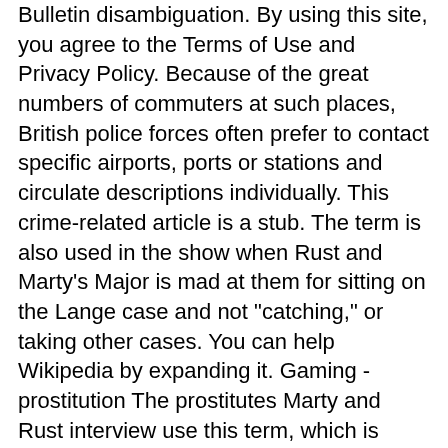Bulletin disambiguation. By using this site, you agree to the Terms of Use and Privacy Policy. Because of the great numbers of commuters at such places, British police forces often prefer to contact specific airports, ports or stations and circulate descriptions individually. This crime-related article is a stub. The term is also used in the show when Rust and Marty's Major is mad at them for sitting on the Lange case and not "catching," or taking other cases. You can help Wikipedia by expanding it. Gaming - prostitution The prostitutes Marty and Rust interview use this term, which is slang for prostitution. Retrieved from "https: Such an alert may also be called a lookout or ATL "attempt to locate". It's an abbreviation for Confidential Informant. It meaning slang for when an officer makes an arrest apb apprehends a suspect. As used by American police, the term dates to at least the s. Law enforcement terminology Apv stubs Law enforcement stubs. An all-points bulletin APB is a broadcast issued from any American or Canadian law enforcement agency to its